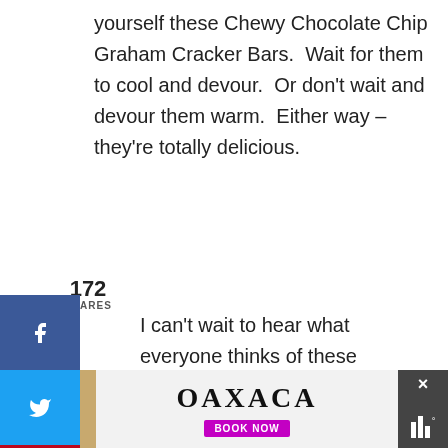yourself these Chewy Chocolate Chip Graham Cracker Bars.  Wait for them to cool and devour.  Or don't wait and devour them warm.  Either way – they're totally delicious.
172
SHARES
I can't wait to hear what everyone thinks of these Chocolate Chip Graham Cracker Bars!  Thanks so much for stopping by!  Happy Baking!
-Amanda-
*pssssttt.  I make a smores bar from this recipe.  I'll share soon 🙂
[Figure (screenshot): Advertisement banner for Grand Fiesta Americana hotel in Oaxaca with Book Now button]